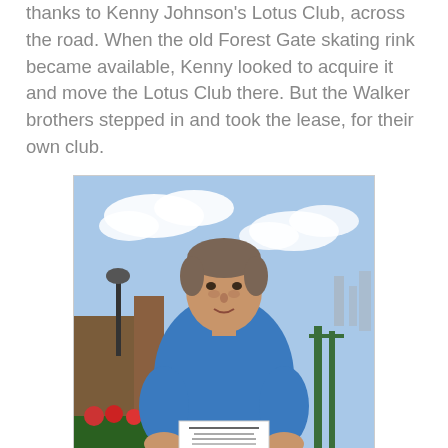thanks to Kenny Johnson's Lotus Club, across the road. When the old Forest Gate skating rink became available, Kenny looked to acquire it and move the Lotus Club there. But the Walker brothers stepped in and took the lease, for their own club.
[Figure (photo): A man in a blue jumper standing outdoors on what appears to be a rooftop or terrace, holding a white document/flyer. Sky with clouds visible behind him, with some building structures and green railings in the background.]